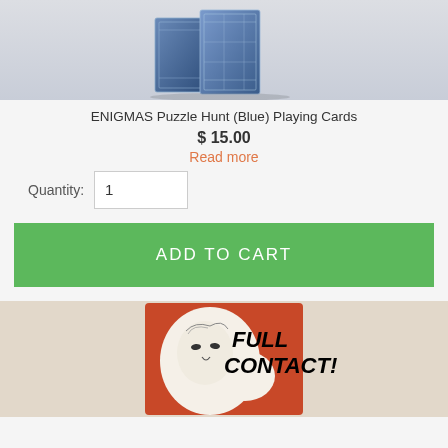[Figure (photo): Two blue playing card boxes (ENIGMAS Puzzle Hunt Blue edition) photographed against a light grey background, shown from a front-angled view.]
ENIGMAS Puzzle Hunt (Blue) Playing Cards
$ 15.00
Read more
Quantity: 1
ADD TO CART
[Figure (illustration): Comic-style illustration showing a face with the text FULL CONTACT! in bold italic letters, on a red/orange background with beige border area.]